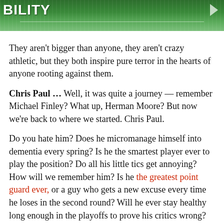[Figure (photo): Green grass/sports field background image with partial white text visible at top left and a right-pointing arrow icon at top right]
They aren't bigger than anyone, they aren't crazy athletic, but they both inspire pure terror in the hearts of anyone rooting against them.
Chris Paul … Well, it was quite a journey — remember Michael Finley? What up, Herman Moore? But now we're back to where we started. Chris Paul.
Do you hate him? Does he micromanage himself into dementia every spring? Is he the smartest player ever to play the position? Do all his little tics get annoying? How will we remember him? Is he the greatest point guard ever, or a guy who gets a new excuse every time he loses in the second round? Will he ever stay healthy long enough in the playoffs to prove his critics wrong?